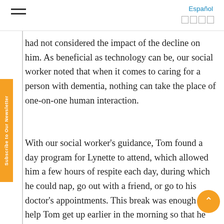Español □□□□
had not considered the impact of the decline on him. As beneficial as technology can be, our social worker noted that when it comes to caring for a person with dementia, nothing can take the place of one-on-one human interaction.
With our social worker's guidance, Tom found a day program for Lynette to attend, which allowed him a few hours of respite each day, during which he could nap, go out with a friend, or go to his doctor's appointments. This break was enough to help Tom get up earlier in the morning so that he could spend time with Lynette, but it also made him more comfortable with the idea of hiring a companion. Tom found other ways in which technology was helpful to